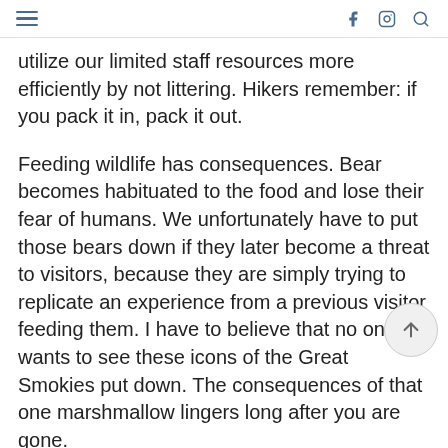≡ [hamburger menu] | f [facebook] [instagram] [search]
utilize our limited staff resources more efficiently by not littering. Hikers remember: if you pack it in, pack it out.

Feeding wildlife has consequences. Bear becomes habituated to the food and lose their fear of humans. We unfortunately have to put those bears down if they later become a threat to visitors, because they are simply trying to replicate an experience from a previous visitor feeding them. I have to believe that no one wants to see these icons of the Great Smokies put down. The consequences of that one marshmallow lingers long after you are gone.